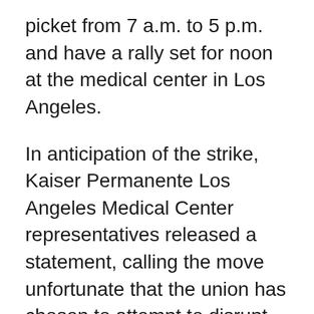picket from 7 a.m. to 5 p.m. and have a rally set for noon at the medical center in Los Angeles.
In anticipation of the strike, Kaiser Permanente Los Angeles Medical Center representatives released a statement, calling the move unfortunate that the union has chosen to attempt to disrupt patient care and service as a bargaining tactic, especially during a pandemic.
“The COVID-19 pandemic has been an incredibly challenging and stressful time to work on the front lines of health care. We are